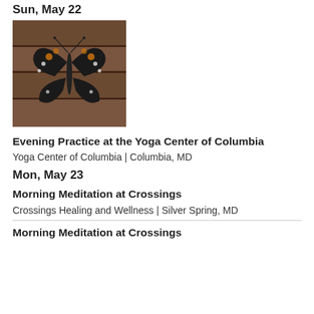Sun, May 22
[Figure (photo): A black swallowtail butterfly with white and orange markings perched on a wooden surface, wings spread open.]
Evening Practice at the Yoga Center of Columbia
Yoga Center of Columbia | Columbia, MD
Mon, May 23
Morning Meditation at Crossings
Crossings Healing and Wellness | Silver Spring, MD
Morning Meditation at Crossings